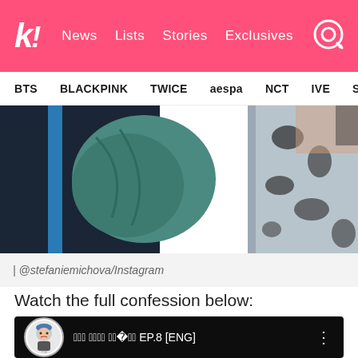k! News Lists Stories Exclusives
BTS BLACKPINK TWICE aespa NCT IVE SEVE
[Figure (photo): Close-up photo of clothing/outfits with a teal/green scarf, dark jacket with blue stripe, and a black-and-white fuzzy coat. The letters 'S E' are partially visible on one garment.]
| @stefaniemichova/Instagram
Watch the full confession below:
[Figure (screenshot): YouTube video thumbnail with dark background showing a video titled with Korean characters followed by EP.8 [ENG]. A cartoon avatar channel icon is on the left and a three-dot menu icon on the right. The bottom shows a stylized teal graphic.]